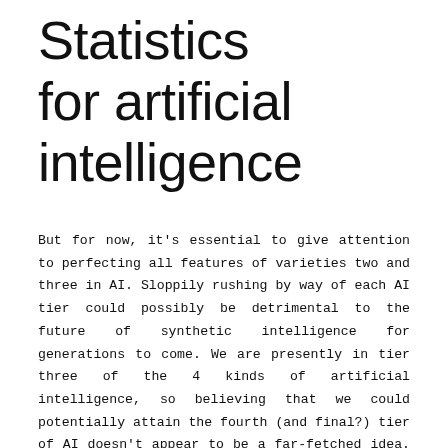Statistics for artificial intelligence
But for now, it's essential to give attention to perfecting all features of varieties two and three in AI. Sloppily rushing by way of each AI tier could possibly be detrimental to the future of synthetic intelligence for generations to come. We are presently in tier three of the 4 kinds of artificial intelligence, so believing that we could potentially attain the fourth (and final?) tier of AI doesn't appear to be a far-fetched idea. These two humanlike robots are samples of movement toward full theory of mind AI systems materializing in the near